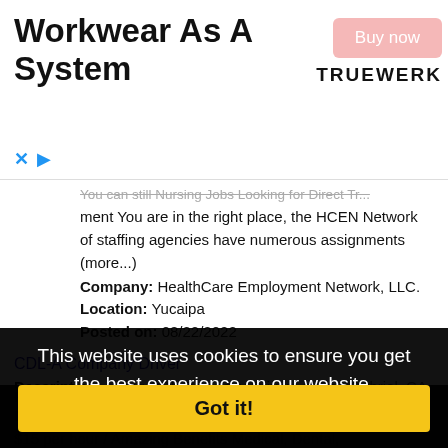[Figure (screenshot): Ad banner for Truewerk workwear with 'Workwear As A System' heading, a pink 'Buy now' button, and the TRUEWERK logo.]
You can still Nursing Jobs Looking for Direct Travel... ment You are in the right place, the HCEN Network of staffing agencies have numerous assignments (more...)
Company: HealthCare Employment Network, LLC.
Location: Yucaipa
Posted on: 08/22/2022
CDL-A Company Driver
Description: Hiring CDL Company Drivers in San Gabriel, CA. Apply once and choose a trucking job that works for you. Get home when you want to, and get paid what you deserve Available Trucking Jobs:
Company: Live Truck...
Location: San Gabriel
Posted on: 08/22/2022
This website uses cookies to ensure you get the best experience on our website.
Learn more
Got it!
Customer Service Consultant *100% Work From Home*
Description: Call Center / Fully Remote - Anywhere in U.S. $15 per hour / Amazing Benefits Medical, Dental,